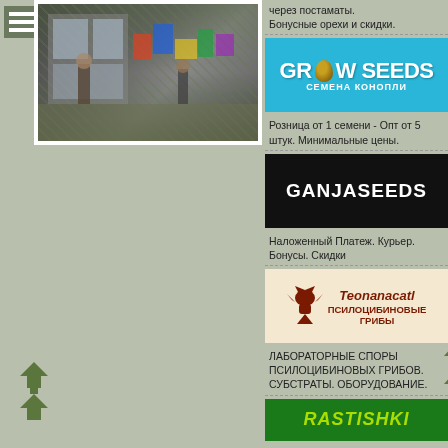[Figure (photo): Menu icon (hamburger) and a photo showing outdoor market or art display with colorful items]
через постаматы. Бонусные орехи и скидки.
[Figure (logo): GrowSeeds - Семена конопли banner with teal background and seed icon]
Розница от 1 семени - Опт от 5 штук. Минимальные цены.
[Figure (logo): GanjaSeeds banner with dark background and white text]
Наложенный Платеж. Курьер. Бонусы. Скидки
[Figure (logo): Teonanacatl - Псилоцибиновые грибы banner]
ЛАБОРАТОРНЫЕ СПОРЫ ПСИЛОЦИБИНОВЫХ ГРИБОВ. СУБСТРАТЫ. ОБОРУДОВАНИЕ.
[Figure (logo): Rastishki partial banner visible at bottom]
[Figure (illustration): Decorative green leaf/arrow icons in lower left area]